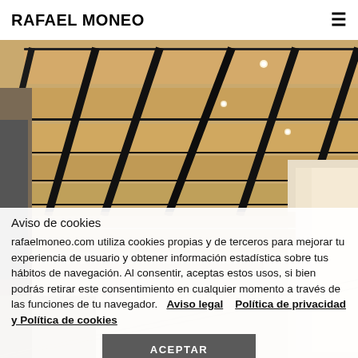RAFAEL MONEO
[Figure (photo): Interior architectural photo showing a ceiling with wooden slats and dark beams, with recessed lighting, and a corridor with natural light on the right side.]
Aviso de cookies
rafaelmoneo.com utiliza cookies propias y de terceros para mejorar tu experiencia de usuario y obtener información estadística sobre tus hábitos de navegación. Al consentir, aceptas estos usos, si bien podrás retirar este consentimiento en cualquier momento a través de las funciones de tu navegador.  Aviso legal  Política de privacidad y Política de cookies